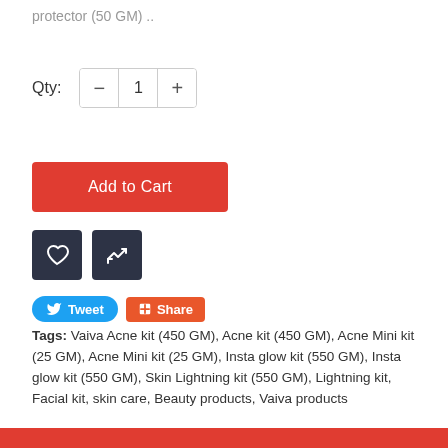protector (50 GM) ..
Qty:  −  1  +
Add to Cart
[Figure (illustration): Heart/wishlist icon button (dark navy square) and a shuffle/compare icon button (dark navy square)]
Tweet  Share
Tags: Vaiva Acne kit (450 GM), Acne kit (450 GM), Acne Mini kit (25 GM), Acne Mini kit (25 GM), Insta glow kit (550 GM), Insta glow kit (550 GM), Skin Lightning kit (550 GM), Lightning kit, Facial kit, skin care, Beauty products, Vaiva products